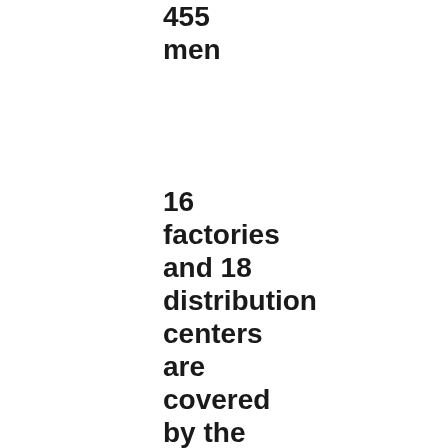455 men
16 factories and 18 distribution centers are covered by the Self-Management Program developed by the Ministry of